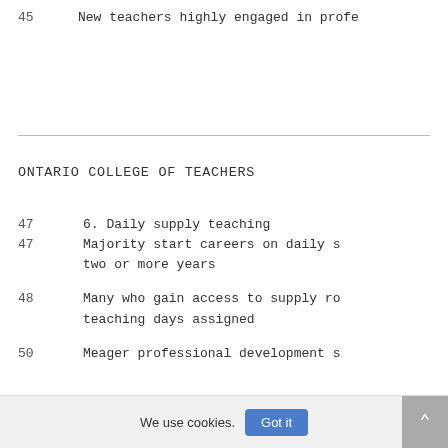45    New teachers highly engaged in profe
47    6. Daily supply teaching
47    Majority start careers on daily s two or more years
48    Many who gain access to supply ro teaching days assigned
50    Meager professional development s
53    7. Attachment to profession
ONTARIO COLLEGE OF TEACHERS